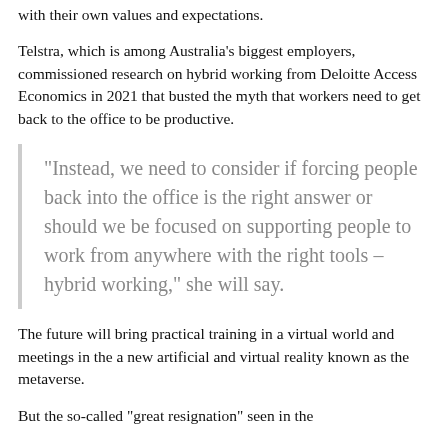with their own values and expectations.
Telstra, which is among Australia’s biggest employers, commissioned research on hybrid working from Deloitte Access Economics in 2021 that busted the myth that workers need to get back to the office to be productive.
“Instead, we need to consider if forcing people back into the office is the right answer or should we be focused on supporting people to work from anywhere with the right tools – hybrid working,” she will say.
The future will bring practical training in a virtual world and meetings in the a new artificial and virtual reality known as the metaverse.
But the so-called “great resignation” seen in the